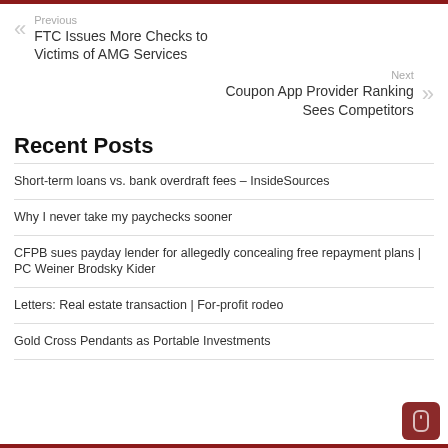Previous
FTC Issues More Checks to Victims of AMG Services
Next
Coupon App Provider Ranking Sees Competitors
Recent Posts
Short-term loans vs. bank overdraft fees – InsideSources
Why I never take my paychecks sooner
CFPB sues payday lender for allegedly concealing free repayment plans | PC Weiner Brodsky Kider
Letters: Real estate transaction | For-profit rodeo
Gold Cross Pendants as Portable Investments